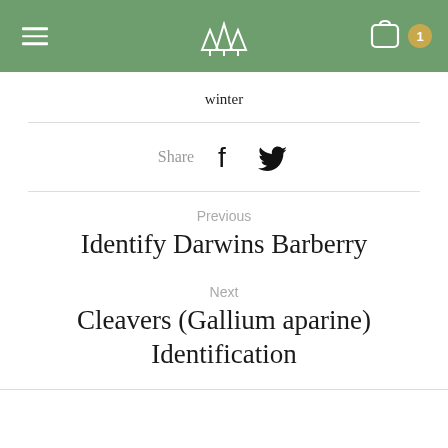Navigation header with logo, menu, and cart
winter
Share
Previous
Identify Darwins Barberry
Next
Cleavers (Gallium aparine) Identification